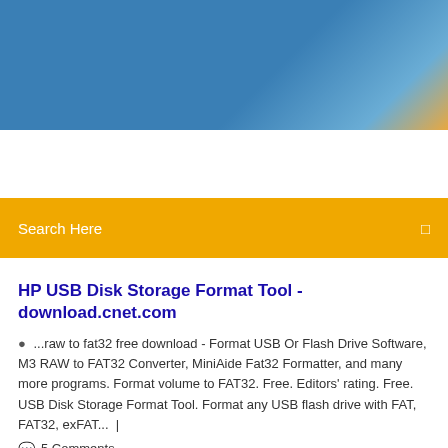[Figure (other): Blue gradient website header banner]
Search Here
HP USB Disk Storage Format Tool - download.cnet.com
…raw to fat32 free download - Format USB Or Flash Drive Software, M3 RAW to FAT32 Converter, MiniAide Fat32 Formatter, and many more programs. Format volume to FAT32. Free. Editors' rating. Free. USB Disk Storage Format Tool. Format any USB flash drive with FAT, FAT32, exFAT...  |
5 Comments
5 Mar 2019 ... Step 1: Launch this FAT32 format software and